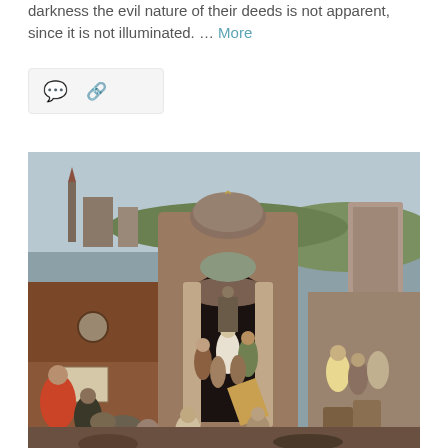darkness the evil nature of their deeds is not apparent, since it is not illuminated. … More
[Figure (illustration): Icon bar with comment bubble and link/share icon on a light grey background panel]
[Figure (photo): A Renaissance-style painting depicting a crowded temple or market scene with an arched gateway, classical columns, figures in medieval dress, a busy crowd scene resembling the Expulsion from the Temple, set against a cityscape background.]